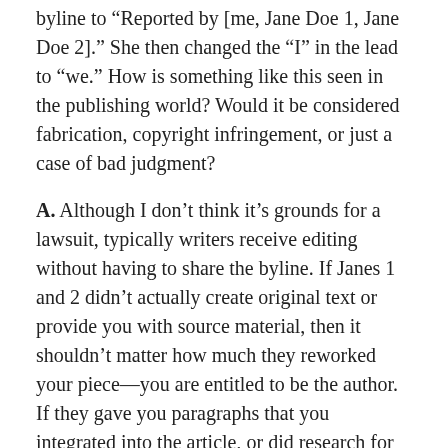byline to “Reported by [me, Jane Doe 1, Jane Doe 2].” She then changed the “I” in the lead to “we.” How is something like this seen in the publishing world? Would it be considered fabrication, copyright infringement, or just a case of bad judgment?
A. Although I don’t think it’s grounds for a lawsuit, typically writers receive editing without having to share the byline. If Janes 1 and 2 didn’t actually create original text or provide you with source material, then it shouldn’t matter how much they reworked your piece—you are entitled to be the author. If they gave you paragraphs that you integrated into the article, or did research for you, then they could at least be acknowledged as contributors. If the Janes did substantial original work (not editing), they can claim coauthorship. “—